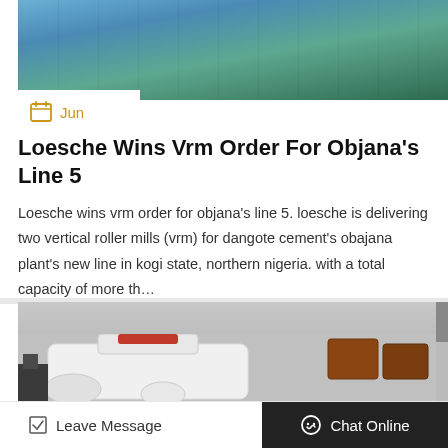[Figure (photo): Industrial machinery or conveyor belt with blue and green/teal metallic surfaces viewed from above]
Jun
Loesche Wins Vrm Order For Objana's Line 5
Loesche wins vrm order for objana's line 5. loesche is delivering two vertical roller mills (vrm) for dangote cement's obajana plant's new line in kogi state, northern nigeria. with a total capacity of more th…
Get Price
[Figure (photo): Industrial machinery, white vertical roller mill components at a factory or yard]
Leave Message
Chat Online